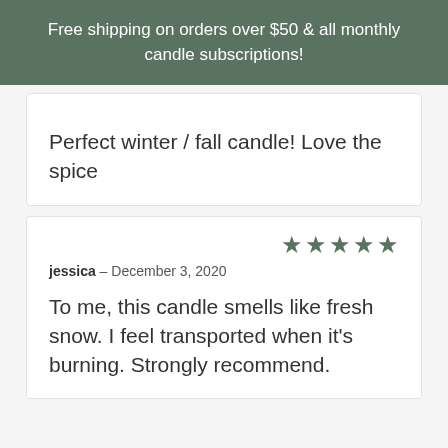Free shipping on orders over $50 & all monthly candle subscriptions!
Perfect winter / fall candle! Love the spice
jessica – December 3, 2020 ★★★★★
To me, this candle smells like fresh snow. I feel transported when it's burning. Strongly recommend.